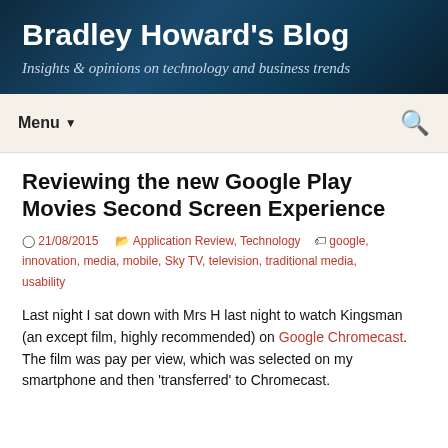Bradley Howard's Blog
Insights & opinions on technology and business trends
Menu ▼
Reviewing the new Google Play Movies Second Screen Experience
21/08/2015   Application Review, Technology   google, innovation, media, mobile, Sky TV, television, traditional media, usability
Last night I sat down with Mrs H last night to watch Kingsman (an except film, highly recommended) on Google Chromecast. The film was pay per view, which was selected on my smartphone and then 'transferred' to Chromecast.